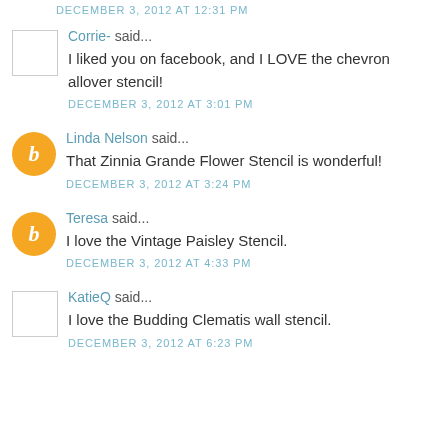DECEMBER 3, 2012 AT 12:31 PM
Corrie- said...
I liked you on facebook, and I LOVE the chevron allover stencil!
DECEMBER 3, 2012 AT 3:01 PM
Linda Nelson said...
That Zinnia Grande Flower Stencil is wonderful!
DECEMBER 3, 2012 AT 3:24 PM
Teresa said...
I love the Vintage Paisley Stencil.
DECEMBER 3, 2012 AT 4:33 PM
KatieQ said...
I love the Budding Clematis wall stencil.
DECEMBER 3, 2012 AT 6:23 PM